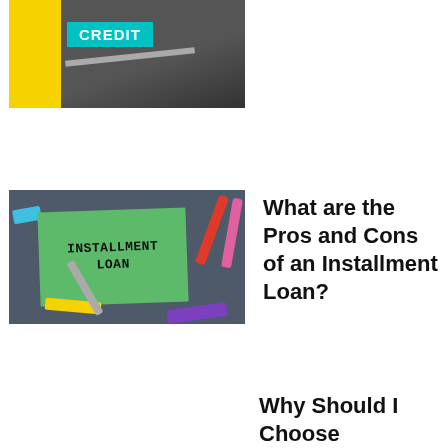[Figure (photo): Photo showing sticky notes with the word CREDIT on a dark background, with yellow paper and a pencil.]
[Figure (photo): Photo of a green notepad with handwritten text 'INSTALLMENT LOAN' surrounded by colorful markers and pens on a blue-gray surface.]
What are the Pros and Cons of an Installment Loan?
Why Should I Choose